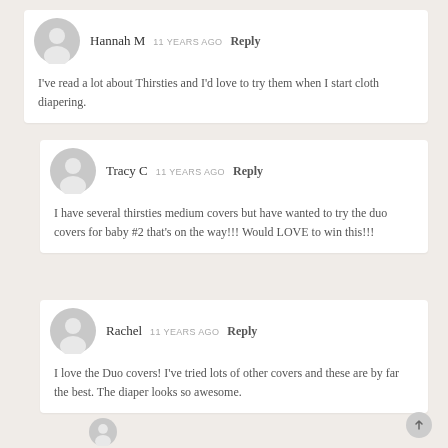Hannah M  11 YEARS AGO  Reply
I've read a lot about Thirsties and I'd love to try them when I start cloth diapering.
Tracy C  11 YEARS AGO  Reply
I have several thirsties medium covers but have wanted to try the duo covers for baby #2 that's on the way!!! Would LOVE to win this!!!
Rachel  11 YEARS AGO  Reply
I love the Duo covers! I've tried lots of other covers and these are by far the best. The diaper looks so awesome.